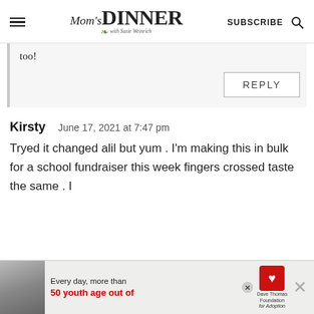Mom's DINNER with Susie Weinrich — SUBSCRIBE
too!
REPLY
Kirsty   June 17, 2021 at 7:47 pm
Tryed it changed alil but yum . I'm making this in bulk for a school fundraiser this week fingers crossed taste the same . I
[Figure (screenshot): Advertisement banner: photo of a person on left, text 'Every day, more than 50 youth age out of' with Dave Thomas Foundation for Adoption logo]
Every day, more than 50 youth age out of — Dave Thomas Foundation for Adoption